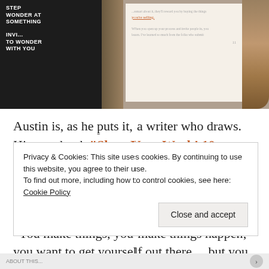[Figure (photo): Photo of an open book with dark left page showing handwritten-style white text and light right page with orange-underlined text, resting on or near a cat]
Austin is, as he puts it, a writer who draws. His new book "Show Your Work! 10 ways to share your creativity and get discovered"* (*really sweet mini-video here) is about to be released in March. As Austin says, it's about process, not product. "You make things, you make things happen; you want to get yourself out there… but you don't want promoting your work to take away from what you
Privacy & Cookies: This site uses cookies. By continuing to use this website, you agree to their use. To find out more, including how to control cookies, see here: Cookie Policy
Close and accept